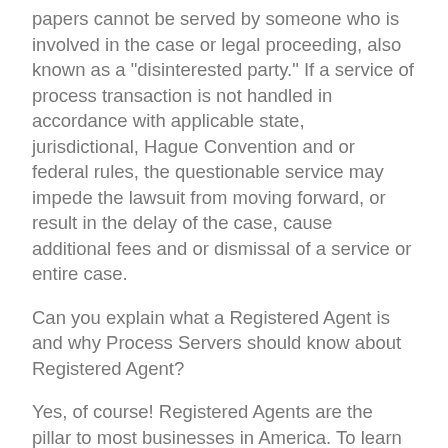papers cannot be served by someone who is involved in the case or legal proceeding, also known as a “disinterested party.” If a service of process transaction is not handled in accordance with applicable state, jurisdictional, Hague Convention and or federal rules, the questionable service may impede the lawsuit from moving forward, or result in the delay of the case, cause additional fees and or dismissal of a service or entire case.
Can you explain what a Registered Agent is and why Process Servers should know about Registered Agent?
Yes, of course! Registered Agents are the pillar to most businesses in America. To learn all about Registered Agents and why Process Servers should know everything about a Registered Agent click on this link ? Registered Agents and Service of Process
Do you know of a process servers service consulting company that can assist with acquiring or developing a